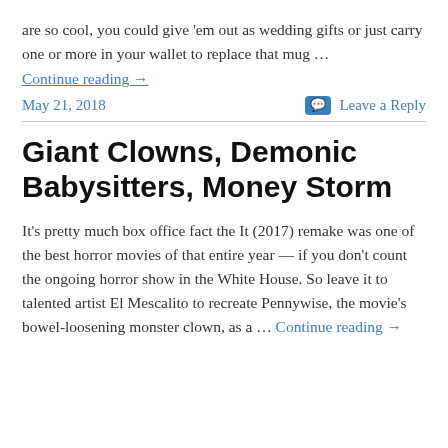are so cool, you could give 'em out as wedding gifts or just carry one or more in your wallet to replace that mug …
Continue reading →
May 21, 2018   Leave a Reply
Giant Clowns, Demonic Babysitters, Money Storm
It's pretty much box office fact the It (2017) remake was one of the best horror movies of that entire year — if you don't count the ongoing horror show in the White House. So leave it to talented artist El Mescalito to recreate Pennywise, the movie's bowel-loosening monster clown, as a … Continue reading →